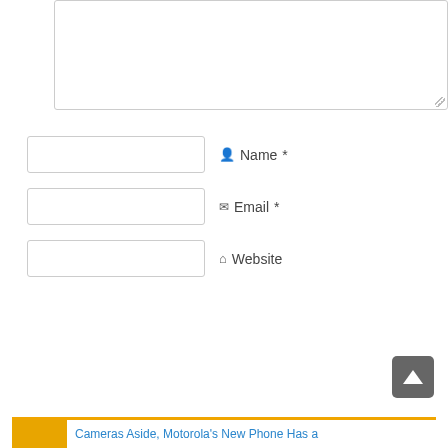[Figure (screenshot): Textarea input box for comment, partially shown at top of page]
Name *
Email *
Website
Post Comment
TECH NEWS
Keep up with the latest on technical news and innovations.
Generated by Feedzy
Cameras Aside, Motorola's New Phone Has a